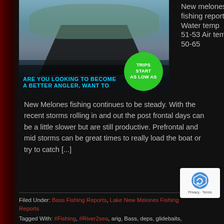[Figure (photo): Person holding fish with banner overlay reading 'ARE YOU LOOKING TO BECOME A BETTER ANGLER, WANT TO' and a green circle badge reading 'TRIPS START AS LOW AS']
New melones fishing report Water temp 51-53 Air temp 50-65 New Melones fishing continues to be steady. With the recent storms rolling in and out the post frontal days can be a little slower but are still productive. Prefrontal and mid storms can be great times to really load the boat or try to catch [...]
Filed Under: Bass Fishing Reports, Lake New Melones Fishing Reports
Tagged With: #Fishing, #River2sea, arig, Bass, deps, glidebaits,